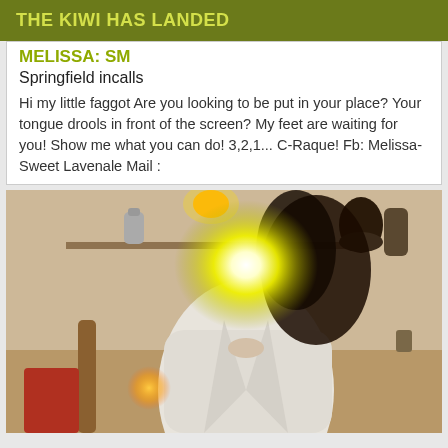THE KIWI HAS LANDED
MELISSA: SM
Springfield incalls
Hi my little faggot Are you looking to be put in your place? Your tongue drools in front of the screen? My feet are waiting for you! Show me what you can do! 3,2,1... C-Raque! Fb: Melissa-Sweet Lavenale Mail :
[Figure (photo): A person in a white blazer photographed indoors; face obscured by bright light glare. Room contains shelves, dark vase, bed post, and warm lamp light.]